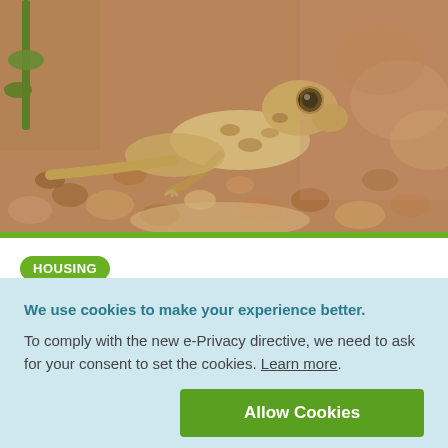[Figure (photo): Close-up photograph of a small gecko lizard on rocky/gravel ground, with a blurred pebble background and a green plant stem visible on the left.]
HOUSING
Can I create an arid bioactive setup?
We use cookies to make your experience better. To comply with the new e-Privacy directive, we need to ask for your consent to set the cookies. Learn more.
Allow Cookies